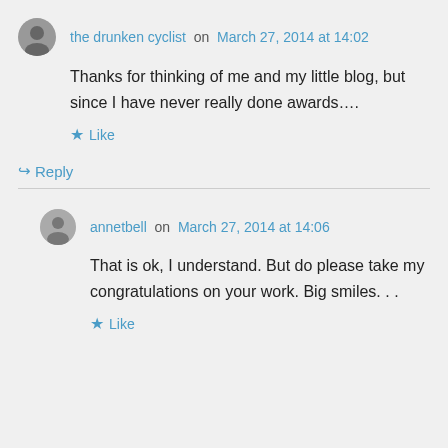the drunken cyclist on March 27, 2014 at 14:02
Thanks for thinking of me and my little blog, but since I have never really done awards….
★ Like
↳ Reply
annetbell on March 27, 2014 at 14:06
That is ok, I understand. But do please take my congratulations on your work. Big smiles. . .
★ Like